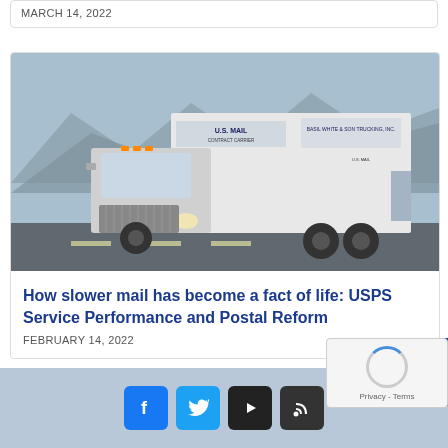MARCH 14, 2022
[Figure (photo): A white U.S. Mail contract carrier truck (large box truck) driving on a road with mountains visible in the background.]
How slower mail has become a fact of life: USPS Service Performance and Postal Reform
FEBRUARY 14, 2022
[Figure (other): Website footer with social media icons: Facebook, Twitter, YouTube, RSS feed, and a CAPTCHA widget overlay.]